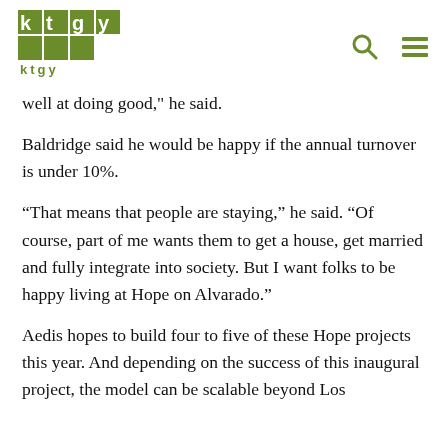ktgy [logo] [search icon] [menu icon]
well at doing good," he said.
Baldridge said he would be happy if the annual turnover is under 10%.
“That means that people are staying,” he said. “Of course, part of me wants them to get a house, get married and fully integrate into society. But I want folks to be happy living at Hope on Alvarado.”
Aedis hopes to build four to five of these Hope projects this year. And depending on the success of this inaugural project, the model can be scalable beyond Los